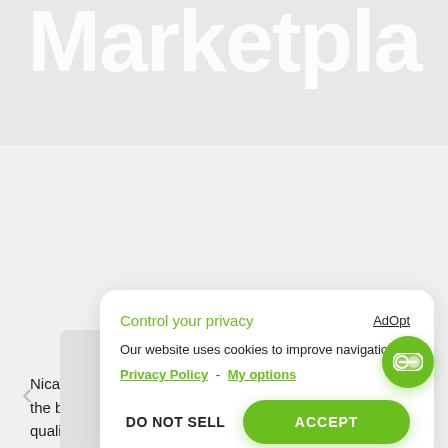Marketpla
[Figure (screenshot): Cookie consent modal overlay on a marketplace website. Contains title 'Control your privacy', AdOpt branding, cookie notice text, Privacy Policy and My options links, and two buttons: DO NOT SELL and ACCEPT.]
Control your privacy
Our website uses cookies to improve navigation.
Privacy Policy - My options
DO NOT SELL
ACCEPT
Nicaraguan coffee is certainly taken into account single of the best economical coffees globally for its excellent good quality and